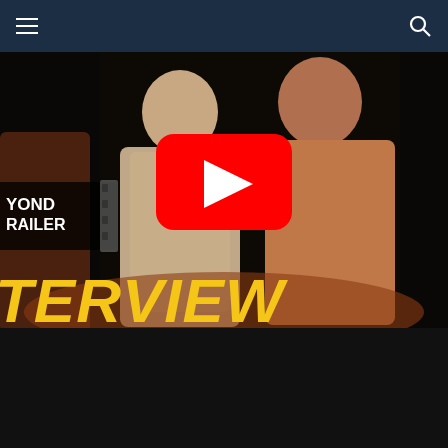≡  [hamburger menu]  [search icon]
[Figure (screenshot): YouTube video thumbnail showing cast members of Zombieland 2 in an interview setting. YouTube play button overlay in center. Beyond the Trailer logo on left. Large yellow italic text 'TERVIEW' at bottom.]
00:00  04:46
ZOMBIELAND
|<<  >>|  [shuffle]  [repeat]
[Figure (screenshot): Playlist item thumbnail showing Zombieland 2 interview with cast members]
Zombieland 2 Interview - Emma Stone, Woody Harrelson, Jesse Eisenberg
04:46